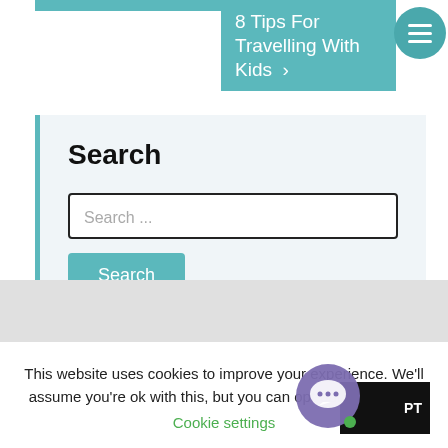[Figure (screenshot): Top portion of a travel website showing a teal navigation bar and a hamburger menu circle button at top right.]
8 Tips For Travelling With Kids ›
Search
Search ...
Search
This website uses cookies to improve your experience. We'll assume you're ok with this, but you can opt-out if you wish.
Cookie settings
PT